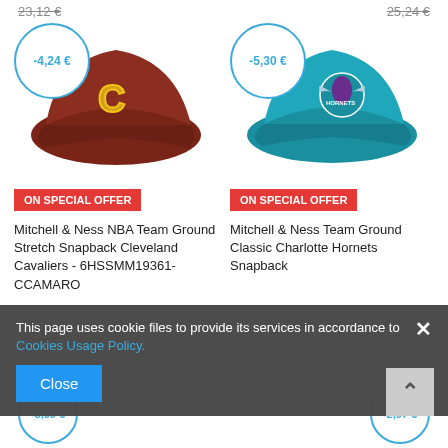23,12 €
25,24 €
[Figure (photo): Red/maroon Mitchell & Ness NBA Team Ground Stretch Snapback Cleveland Cavaliers cap with gold C logo, discount badge showing -4,24 €, ON SPECIAL OFFER button]
[Figure (photo): Teal Mitchell & Ness Team Ground Classic Charlotte Hornets Snapback cap with Hornets logo, discount badge showing -5,30 €, ON SPECIAL OFFER button]
Mitchell & Ness NBA Team Ground Stretch Snapback Cleveland Cavaliers - 6HSSMM19361-CCAMARO
Mitchell & Ness Team Ground Classic Charlotte Hornets Snapback
This page uses cookie files to provide its services in accordance to Cookies Usage Policy.
Close
-5,09 €
-2,97 €